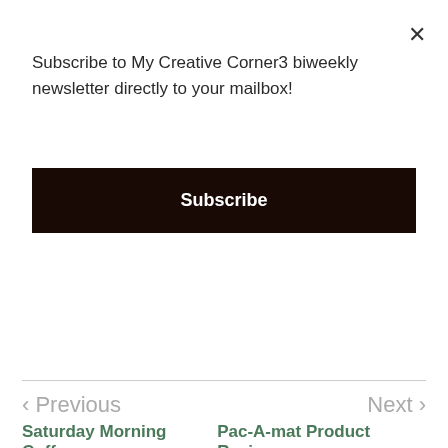Subscribe to My Creative Corner3 biweekly newsletter directly to your mailbox!
Subscribe
mycreativecorner3-Vicki H.
< Previous    Next >
Saturday Morning Coffee    Pac-A-mat Product Review
6 comments